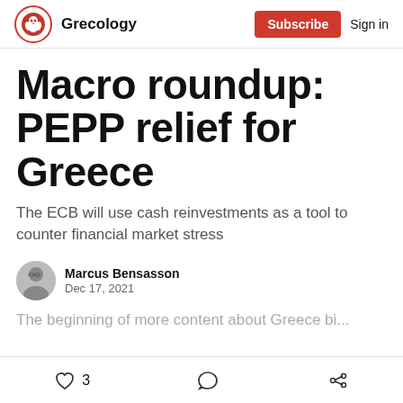Grecology | Subscribe | Sign in
Macro roundup: PEPP relief for Greece
The ECB will use cash reinvestments as a tool to counter financial market stress
Marcus Bensasson
Dec 17, 2021
The beginning of some more content for Greece bi...